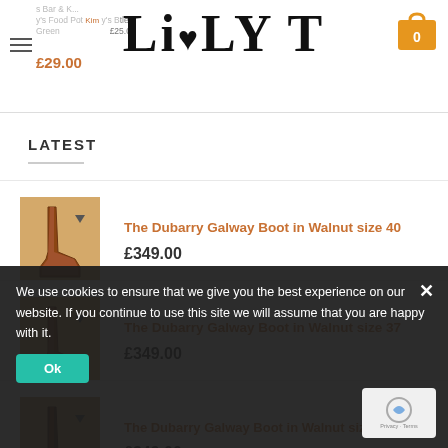[Figure (screenshot): LiLYT e-commerce website header with logo and shopping cart icon showing 0 items, with navigation menu icon on left]
LATEST
The Dubarry Galway Boot in Walnut size 40 — £349.00
The Dubarry Galway Boot in Walnut size 37 — £349.00
The Dubarry Galway Boot in Walnut size 3 — £349.00
We use cookies to ensure that we give you the best experience on our website. If you continue to use this site we will assume that you are happy with it.